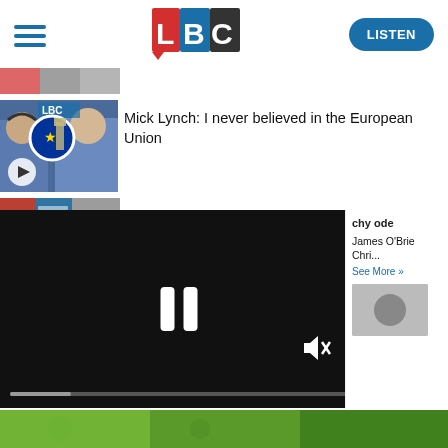LBC — LISTEN
[Figure (screenshot): Partial thumbnail image strip at top of page]
[Figure (screenshot): Article thumbnail showing two men in a TV studio with EU flag badge overlay and play button; LBC logo visible]
Mick Lynch: I never believed in the European Union
[Figure (screenshot): Partial colored image strip (second article thumbnail, partially visible)]
[Figure (screenshot): Video player (black background) with pause icon and mute icon, and progress bar at bottom]
chy ode
James O'Brie Chri...
See More >>
[Figure (screenshot): Partial thumbnail in sidebar bottom]
[Figure (screenshot): Partial green image strip at bottom of page]